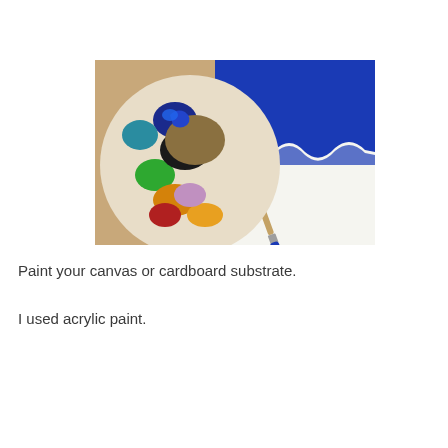[Figure (photo): Photo showing an artist's palette covered with colorful acrylic paints (blue, green, orange, pink, black, red) and a canvas partially painted in bright blue with a paintbrush resting on it.]
Paint your canvas or cardboard substrate.
I used acrylic paint.